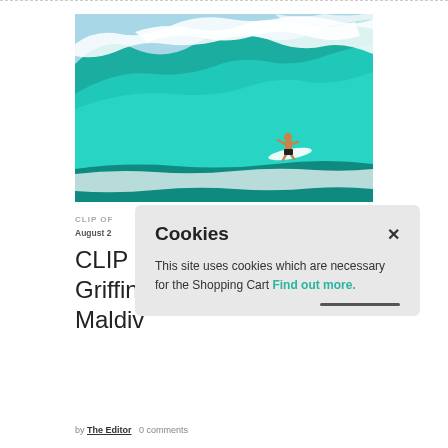[Figure (photo): A surfer riding a large turquoise wave with white spray at the top, photographed from the side.]
CLIP OF
August 2
CLIP O
Griffin
Maldiv
by The Editor   0 comments
Cookies
×
This site uses cookies which are necessary for the Shopping Cart Find out more.